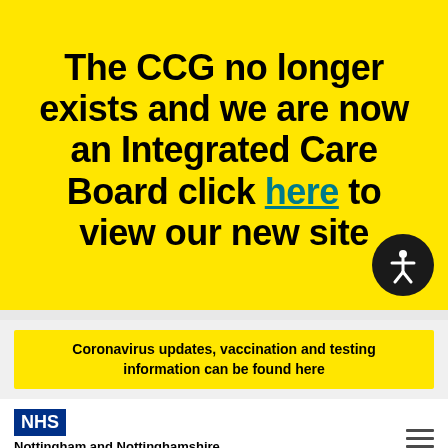The CCG no longer exists and we are now an Integrated Care Board click here to view our new site
Coronavirus updates, vaccination and testing information can be found here
[Figure (logo): NHS Nottingham and Nottinghamshire Clinical Commissioning Group logo with hamburger menu icon]